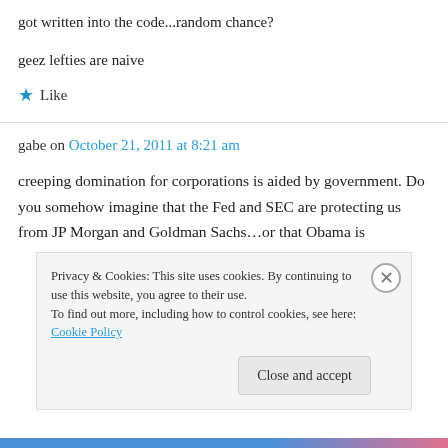got written into the code...random chance?
geez lefties are naive
Like
gabe on October 21, 2011 at 8:21 am
creeping domination for corporations is aided by government. Do you somehow imagine that the Fed and SEC are protecting us from JP Morgan and Goldman Sachs…or that Obama is
Privacy & Cookies: This site uses cookies. By continuing to use this website, you agree to their use.
To find out more, including how to control cookies, see here: Cookie Policy
Close and accept